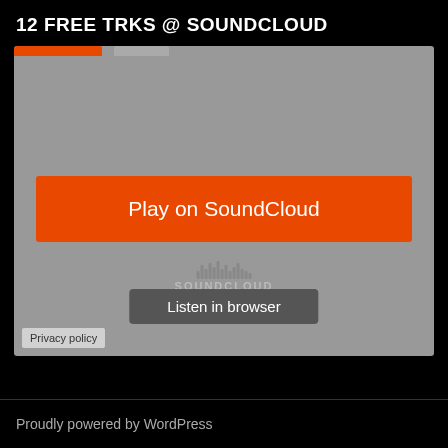12 FREE TRKS @ SOUNDCLOUD
[Figure (screenshot): SoundCloud embedded player widget with gray background showing 'Play on SoundCloud' orange button and 'Listen in browser' button, with SoundCloud waveform logo and Privacy policy link]
Proudly powered by WordPress